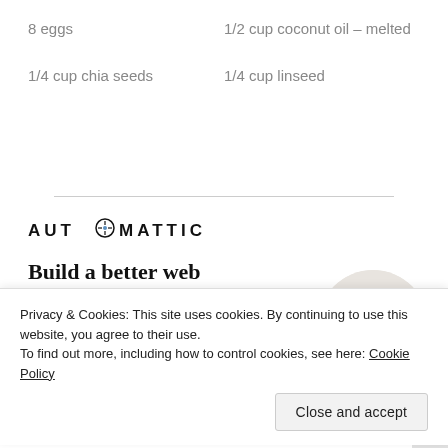8 eggs
1/2 cup coconut oil – melted
1/4 cup chia seeds
1/4 cup linseed
[Figure (logo): Automattic logo with compass icon replacing one 'O']
Build a better web and a better world.
Apply
[Figure (photo): Circular photo of a man with glasses looking upward, thinking pose]
Privacy & Cookies: This site uses cookies. By continuing to use this website, you agree to their use.
To find out more, including how to control cookies, see here: Cookie Policy
Close and accept
Getting your team on the